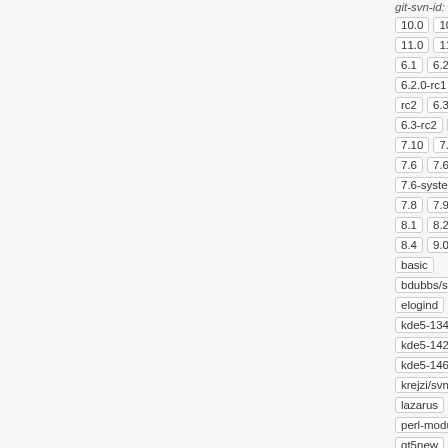git-svn-id:
@781a3e8 ⚙ 19 years larry
10.0  10.  11.0  11.  6.1  6.2  6.2.0-rc1  rc2  6.3  6.3-rc2  6.  7.10  7.4  7.6  7.6-b  7.6-system  7.8  7.9  8.1  8.2  8.4  9.0  basic  bdubbs/svn  elogind  kde5-1343  kde5-1426  kde5-1468  krejzi/svn  lazarus  perl-modul  qt5new  s  11177  sys  13485  tru  upgradedb  v5_0-pre1  v5_1-pre1  xry111/intlb  xry111/test